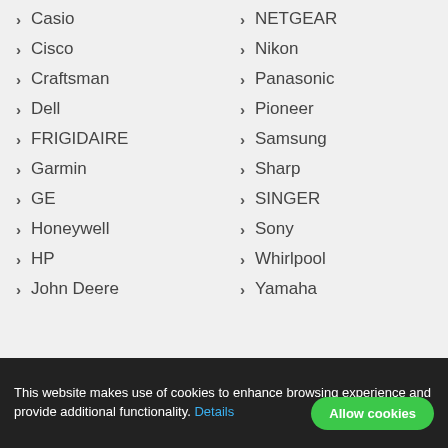Casio
NETGEAR
Cisco
Nikon
Craftsman
Panasonic
Dell
Pioneer
FRIGIDAIRE
Samsung
Garmin
Sharp
GE
SINGER
Honeywell
Sony
HP
Whirlpool
John Deere
Yamaha
All brands
This website makes use of cookies to enhance browsing experience and provide additional functionality. Details
Allow cookies